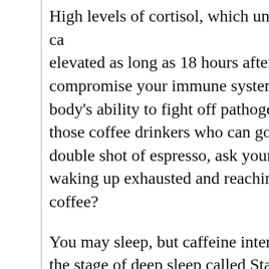High levels of cortisol, which unfortunately can be elevated as long as 18 hours after a cup of coffee, compromise your immune system and interfere with your body's ability to fight off pathogens. And if you are those coffee drinkers who can go right to sleep after a double shot of espresso, ask yourself, why are you waking up exhausted and reaching for another cup of coffee?
You may sleep, but caffeine interferes with your the stage of deep sleep called Stage Four sleep where your body does its essential rebuild and repair.
And how about the way you feel when driven? Remember the last time you or someone else had to handle when faced with an everyday challenge...
It would be interesting to know how many cu...